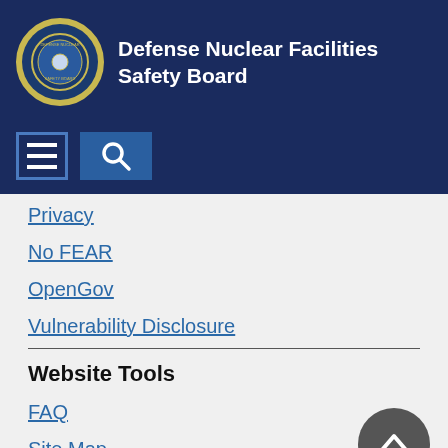Defense Nuclear Facilities Safety Board
Privacy
No FEAR
OpenGov
Vulnerability Disclosure
Website Tools
FAQ
Site Map
Related Websites